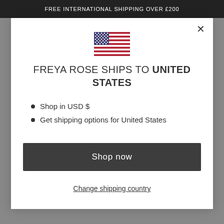FREE INTERNATIONAL SHIPPING OVER £200
[Figure (illustration): US flag emoji/icon displayed in the center of a modal dialog]
FREYA ROSE SHIPS TO UNITED STATES
Shop in USD $
Get shipping options for United States
Shop now
Change shipping country